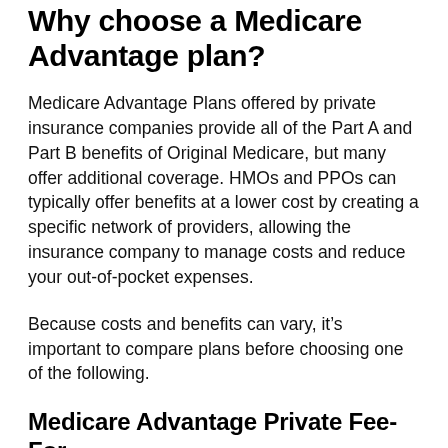Why choose a Medicare Advantage plan?
Medicare Advantage Plans offered by private insurance companies provide all of the Part A and Part B benefits of Original Medicare, but many offer additional coverage. HMOs and PPOs can typically offer benefits at a lower cost by creating a specific network of providers, allowing the insurance company to manage costs and reduce your out-of-pocket expenses.
Because costs and benefits can vary, it’s important to compare plans before choosing one of the following.
Medicare Advantage Private Fee-For-Service Plans